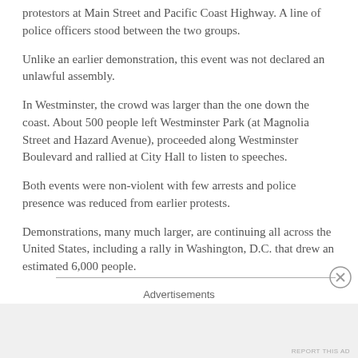protestors at Main Street and Pacific Coast Highway.  A line of police officers stood between the two groups.
Unlike an earlier demonstration, this event was not declared an unlawful assembly.
In Westminster, the crowd was larger than the one down the coast.  About 500 people left Westminster Park (at Magnolia Street and Hazard Avenue), proceeded along Westminster Boulevard and rallied at City Hall to listen to speeches.
Both events were non-violent with few arrests and police presence was reduced from earlier protests.
Demonstrations, many much larger, are continuing all across the United States, including a rally in Washington, D.C. that drew an estimated 6,000 people.
Advertisements